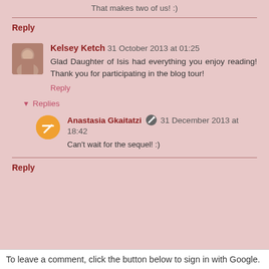That makes two of us! :)
Reply
Kelsey Ketch  31 October 2013 at 01:25
Glad Daughter of Isis had everything you enjoy reading! Thank you for participating in the blog tour!
Reply
▾ Replies
Anastasia Gkaitatzi  31 December 2013 at 18:42
Can't wait for the sequel! :)
Reply
To leave a comment, click the button below to sign in with Google.